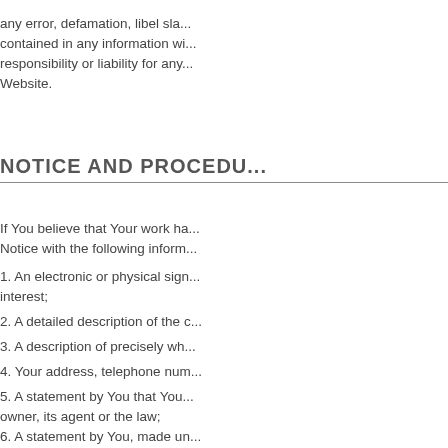any error, defamation, libel sla... contained in any information wi... responsibility or liability for any... Website.
NOTICE AND PROCEDU...
If You believe that Your work ha... Notice with the following inform...
1. An electronic or physical sign... interest;
2. A detailed description of the c...
3. A description of precisely wh...
4. Your address, telephone num...
5. A statement by You that You... owner, its agent or the law;
6. A statement by You, made un... You are the copyright owner or...
Michael Standen Smith - Webs...
Michael Standen Smith - Webs...
ATTN: Copyright Agent
2202 Main Street
Santa Monica, CA 90405